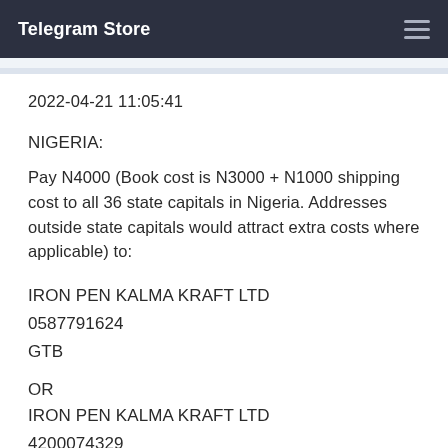Telegram Store
2022-04-21 11:05:41
NIGERIA:
Pay N4000 (Book cost is N3000 + N1000 shipping cost to all 36 state capitals in Nigeria. Addresses outside state capitals would attract extra costs where applicable) to:
IRON PEN KALMA KRAFT LTD
0587791624
GTB
OR
IRON PEN KALMA KRAFT LTD
4200074329